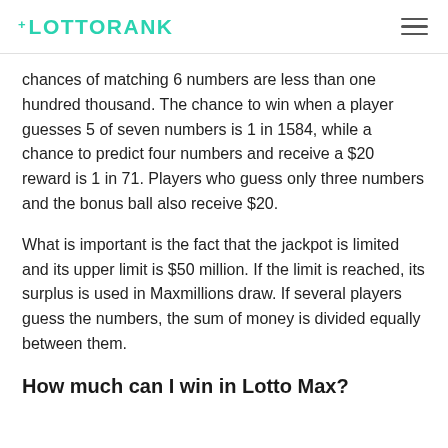+LOTTORANK
chances of matching 6 numbers are less than one hundred thousand. The chance to win when a player guesses 5 of seven numbers is 1 in 1584, while a chance to predict four numbers and receive a $20 reward is 1 in 71. Players who guess only three numbers and the bonus ball also receive $20.
What is important is the fact that the jackpot is limited and its upper limit is $50 million. If the limit is reached, its surplus is used in Maxmillions draw. If several players guess the numbers, the sum of money is divided equally between them.
How much can I win in Lotto Max?